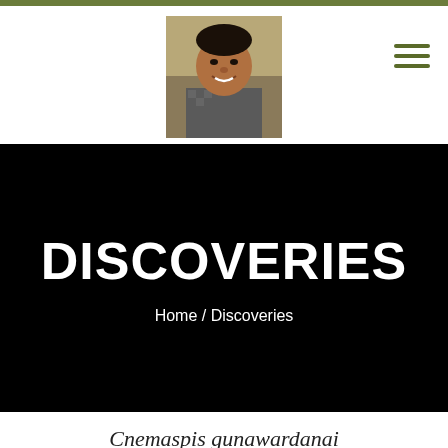[Figure (photo): Profile photo of a man smiling, wearing a checkered jacket, outdoors]
DISCOVERIES
Home / Discoveries
Cnemaspis gunawardanai